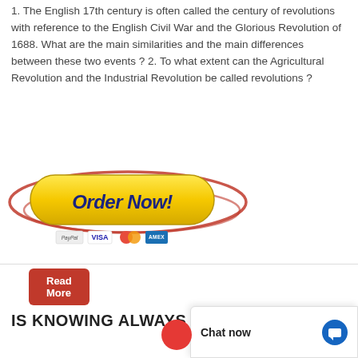1. The English 17th century is often called the century of revolutions with reference to the English Civil War and the Glorious Revolution of 1688. What are the main similarities and the main differences between these two events ? 2. To what extent can the Agricultural Revolution and the Industrial Revolution be called revolutions ?
[Figure (screenshot): Red 'Read More' button]
[Figure (screenshot): Yellow pill-shaped 'Order Now!' button with dark blue italic bold text, surrounded by red decorative ellipse rings, and payment icons below (PayPal, VISA, Mastercard, Amex)]
IS KNOWING ALWAYS
[Figure (screenshot): Chat now popup with blue chat icon in bottom right corner]